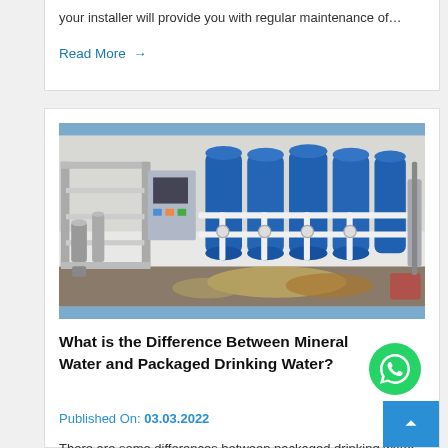your installer will provide you with regular maintenance of...
Read More →
[Figure (photo): Industrial water treatment facility showing stainless steel piping/machinery on the left and large blue cylindrical pressure tanks on the right, arranged in a row against a white wall.]
What is the Difference Between Mineral Water and Packaged Drinking Water?
Published On: 03.03.2022
There are some differences between packaged drinking water and mineral water. You can get the former from the packaged